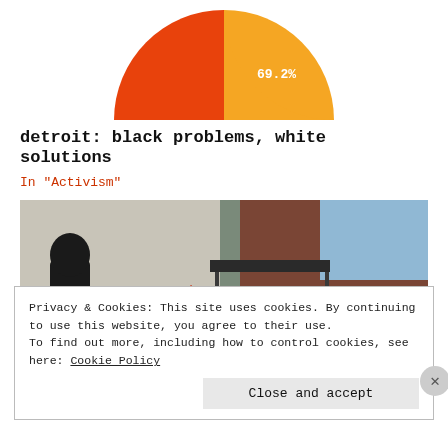[Figure (pie-chart): Pie chart showing 69.2%]
detroit: black problems, white solutions
In "Activism"
[Figure (photo): Street art graffiti on a wall showing a figure holding a paint bucket beside text reading 'I remember when all this was trees', with an urban ruin/abandoned building in the background.]
Privacy & Cookies: This site uses cookies. By continuing to use this website, you agree to their use.
To find out more, including how to control cookies, see here: Cookie Policy

Close and accept